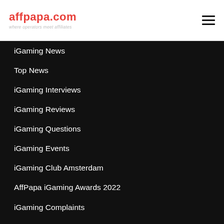affpapa.com — where operators meet affiliates
iGaming News
Top News
iGaming Interviews
iGaming Reviews
iGaming Questions
iGaming Events
iGaming Club Amsterdam
AffPapa iGaming Awards 2022
iGaming Complaints
Posts
Other